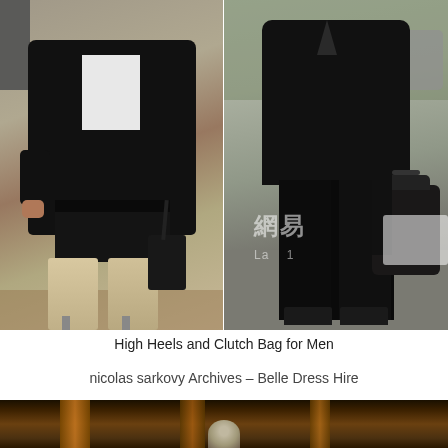[Figure (photo): Two side-by-side street fashion photos of men. Left: man wearing a black leather jacket over a white shirt, black mini skirt, fur/textured tall boots, holding a black clutch bag, outdoors in a park. Right: man in all black outfit with black top, black leggings, and carrying a large black leather tote bag, standing on a street. A Chinese watermark (網易) and partial text overlay appear on the right image.]
High Heels and Clutch Bag for Men
nicolas sarkovy Archives – Belle Dress Hire
[Figure (photo): Partial bottom image showing a dark background with warm brown/orange tones (possibly curtains or drapes) and what appears to be the top of a person's head at the bottom center.]